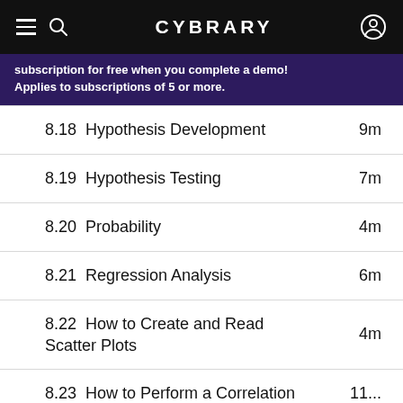CYBRARY
subscription for free when you complete a demo! Applies to subscriptions of 5 or more.
8.18  Hypothesis Development    9m
8.19  Hypothesis Testing    7m
8.20  Probability    4m
8.21  Regression Analysis    6m
8.22  How to Create and Read Scatter Plots    4m
8.23  How to Perform a Correlation Analysis    11m